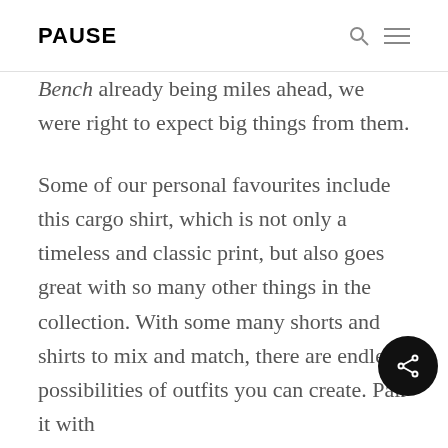PAUSE
Bench already being miles ahead, we were right to expect big things from them.
Some of our personal favourites include this cargo shirt, which is not only a timeless and classic print, but also goes great with so many other things in the collection. With some many shorts and shirts to mix and match, there are endless possibilities of outfits you can create. Pair it with